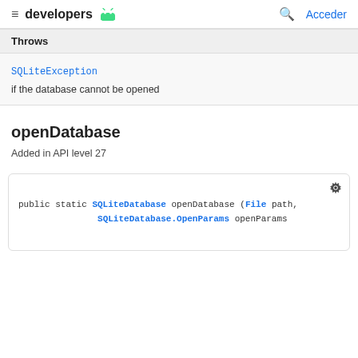developers  Acceder
| Throws |
| --- |
| SQLiteException |
| if the database cannot be opened |
openDatabase
Added in API level 27
public static SQLiteDatabase openDatabase (File path, SQLiteDatabase.OpenParams openParams